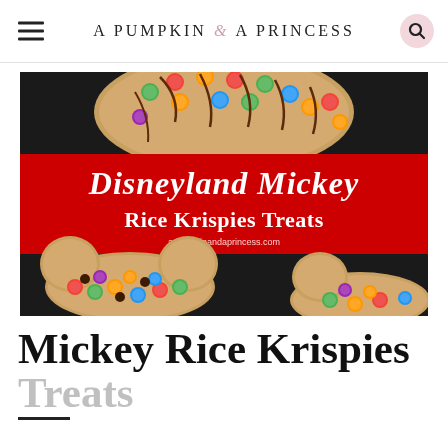A PUMPKIN & A PRINCESS
[Figure (photo): Disneyland Mickey Rice Krispies Treats: colorful M&M candies on Mickey Mouse shaped rice krispie treats with chocolate drizzle on a dark background. Red banner overlay reads 'Disneyland Mickey Rice Krispies Treats' with website apumpkinandaprincess.com]
Mickey Rice Krispies Treats